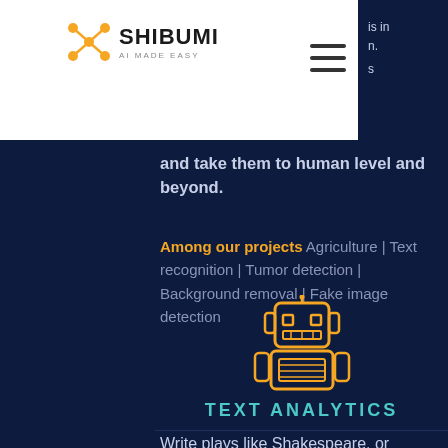SHIBUMI AI MADE EASY
and take them to human level and beyond.
Among our projects Agriculture | Text recognition | Tumor detection | Background removal | Fake image detection
[Figure (illustration): Orange line-art robot icon holding a tablet/display]
TEXT ANALYTICS
Write plays like Shakespeare, or